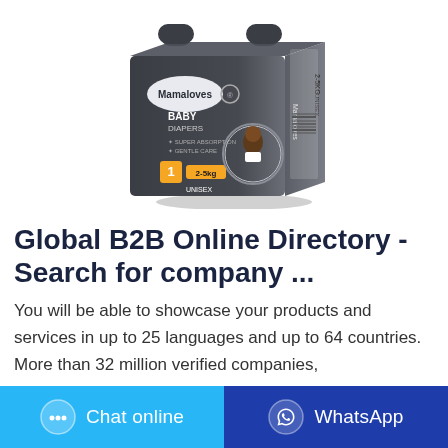[Figure (photo): Mamaloves Baby Diapers product box, dark gray packaging with baby image, showing size 1 (2-5kg) UNISEX, with Super Absorption and Gentle Care features listed.]
Global B2B Online Directory - Search for company ...
You will be able to showcase your products and services in up to 25 languages and up to 64 countries. More than 32 million verified companies,
[Figure (other): Chat online button (light blue) with chat bubble icon, and WhatsApp button (dark blue) with WhatsApp logo icon.]